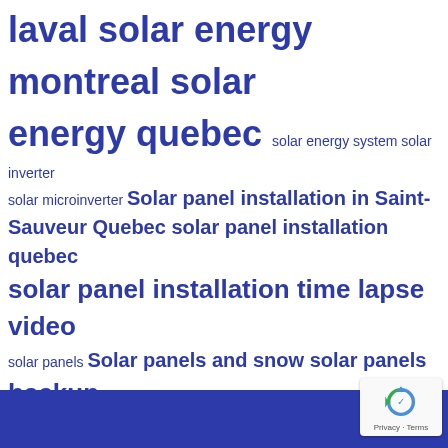laval solar energy montreal solar energy quebec solar energy system solar inverter solar microinverter Solar panel installation in Saint-Sauveur Quebec solar panel installation quebec solar panel installation time lapse video solar panels Solar panels and snow solar panels backup solar panels cleaning solar panels fabrication solar panels guide Solar panels in winter Solar panels Laval solar panels maintenance solar panels manufacturing Solar panels Montreal Solar panels Quebec Solar panel system installer Montreal solar tips Subvention solar panels quebec tips to reduce hydro bill
[Figure (other): reCAPTCHA badge with Privacy and Terms links]